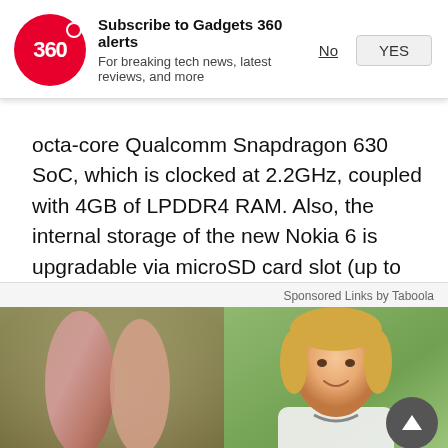[Figure (screenshot): Gadgets 360 subscription notification banner with red circular logo showing '360', bold headline 'Subscribe to Gadgets 360 alerts', subtext 'For breaking tech news, latest reviews, and more', and two buttons 'No' (underlined) and 'YES' (button style)]
octa-core Qualcomm Snapdragon 630 SoC, which is clocked at 2.2GHz, coupled with 4GB of LPDDR4 RAM. Also, the internal storage of the new Nokia 6 is upgradable via microSD card slot (up to 128GB) in a hybrid dual-SIM configuration.
[Figure (photo): Sponsored Links by Taboola section showing two images side by side: left image shows a close-up of a leg/ankle (skin condition advertisement), right image shows a smiling blonde woman in a white doctor's coat with a stethoscope]